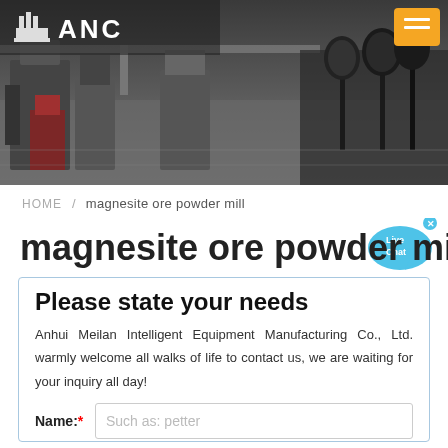[Figure (photo): Factory interior header image with ANC logo and orange menu button overlay]
HOME / magnesite ore powder mill
magnesite ore powder mill
Please state your needs
Anhui Meilan Intelligent Equipment Manufacturing Co., Ltd. warmly welcome all walks of life to contact us, we are waiting for your inquiry all day!
Name:* Such as: petter